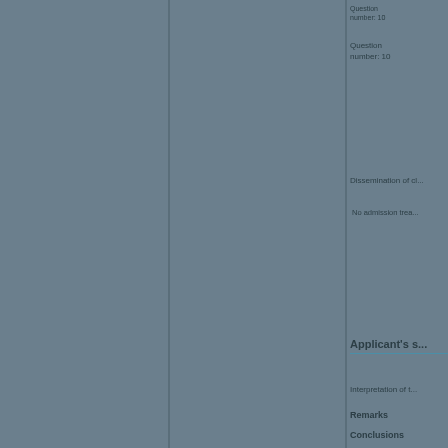Question number: 10
Dissemination of cl...
No admission trea...
Applicant's s...
Interpretation of t...
Remarks
Conclusions